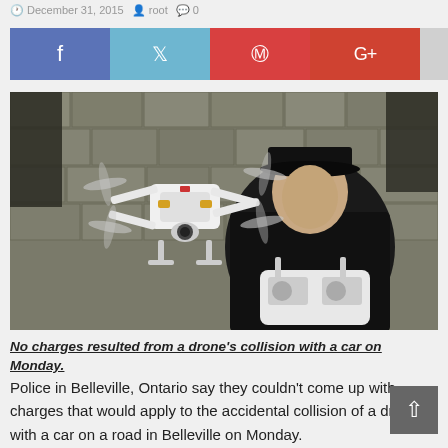December 31, 2015  root  0
[Figure (photo): A person in a black jacket and cap holding a remote controller while a white quadcopter drone (DJI Phantom) hovers in front of them against a stone wall background.]
No charges resulted from a drone's collision with a car on Monday.
Police in Belleville, Ontario say they couldn't come up with charges that would apply to the accidental collision of a drone with a car on a road in Belleville on Monday.